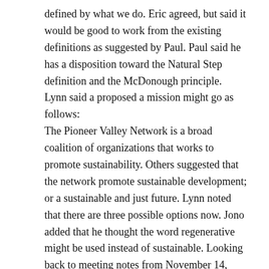defined by what we do.  Eric agreed, but said it would be good to work from the existing definitions as suggested by Paul.  Paul said he has a disposition toward the Natural Step definition and the McDonough principle.
Lynn said a proposed a mission might go as follows:
The Pioneer Valley Network is a broad coalition of organizations that works to promote sustainability.  Others suggested that the network promote sustainable development; or a sustainable and just future.  Lynn noted that there are three possible options now.  Jono added that he thought the word regenerative might be used instead of sustainable.  Looking back to meeting notes from November 14, 2007, Lynn said possible outputs for the network might involve:
support for municipalities to make decisions about